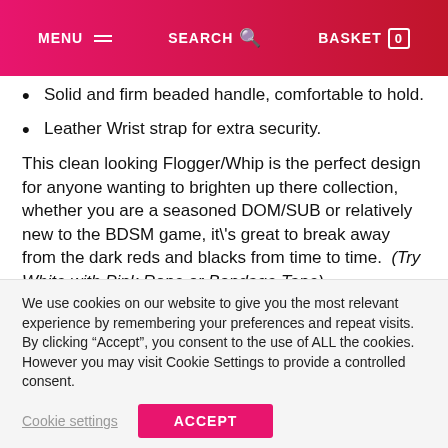MENU  SEARCH  BASKET 0
Solid and firm beaded handle, comfortable to hold.
Leather Wrist strap for extra security.
This clean looking Flogger/Whip is the perfect design for anyone wanting to brighten up there collection, whether you are a seasoned DOM/SUB or relatively new to the BDSM game, it\'s great to break away from the dark reds and blacks from time to time.  (Try White with Pink Rope or Bondage Tape)
The 9 inches of pure audible bum clenching flogger on the end if used right will leave them red-raw and begging for more. You will be in full control with the Solid beaded handle
We use cookies on our website to give you the most relevant experience by remembering your preferences and repeat visits. By clicking “Accept”, you consent to the use of ALL the cookies. However you may visit Cookie Settings to provide a controlled consent.